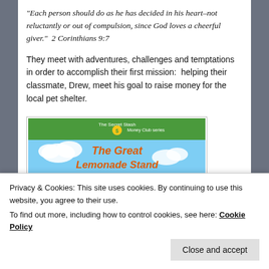“Each person should do as he has decided in his heart–not reluctantly or out of compulsion, since God loves a cheerful giver.”  2 Corinthians 9:7
They meet with adventures, challenges and temptations in order to accomplish their first mission:  helping their classmate, Drew, meet his goal to raise money for the local pet shelter.
[Figure (illustration): Book cover of 'The Great Lemonade Stand Standoff' from The Secret Stash Money Club series. Features cartoon children near a lemonade stand with a playground and houses in the background.]
Privacy & Cookies: This site uses cookies. By continuing to use this website, you agree to their use.
To find out more, including how to control cookies, see here: Cookie Policy
Close and accept